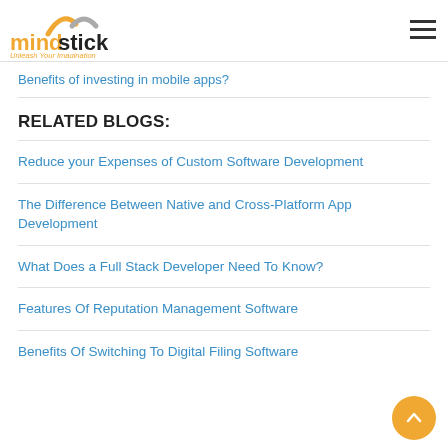[Figure (logo): Mindstick logo with orange and grey arc graphic above text reading 'mindstick' with tagline 'Unleash Your Imagination']
Benefits of investing in mobile apps?
RELATED BLOGS:
Reduce your Expenses of Custom Software Development
The Difference Between Native and Cross-Platform App Development
What Does a Full Stack Developer Need To Know?
Features Of Reputation Management Software
Benefits Of Switching To Digital Filing Software